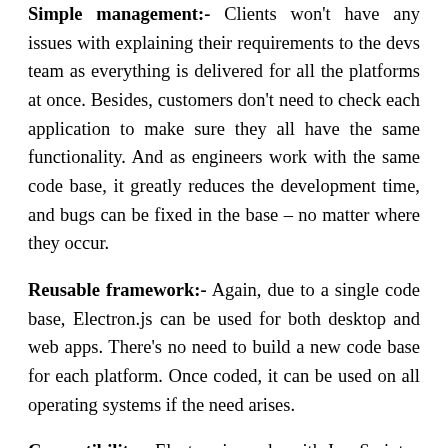Simple management:- Clients won't have any issues with explaining their requirements to the devs team as everything is delivered for all the platforms at once. Besides, customers don't need to check each application to make sure they all have the same functionality. And as engineers work with the same code base, it greatly reduces the development time, and bugs can be fixed in the base – no matter where they occur.
Reusable framework:- Again, due to a single code base, Electron.js can be used for both desktop and web apps. There's no need to build a new code base for each platform. Once coded, it can be used on all operating systems if the need arises.
Compatibility:- Electron.js works with JavaScript